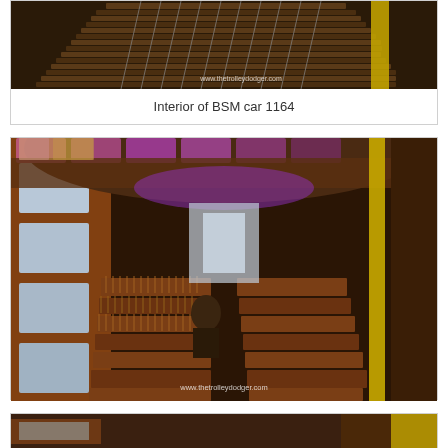[Figure (photo): Black and white / sepia interior photo of a historic streetcar (BSM car 1164) showing rows of wooden seats with metal spindles, viewed from above/angle. Watermark reads 'www.thetrolleydodger.com']
Interior of BSM car 1164
[Figure (photo): Color photograph of interior of a restored vintage trolley/streetcar showing wooden bench seats with spindles, curved wood paneling ceiling with purple/pink colored glass transom windows, large side windows looking out to a parking area, person visible mid-car. Watermark reads 'www.thetrolleydodger.com']
[Figure (photo): Partial view of another vintage streetcar interior photo (cropped at bottom of page)]